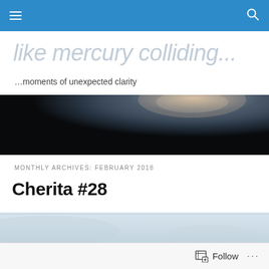Navigation bar with hamburger menu and search icon
like mercury colliding...
…moments of unexpected clarity
[Figure (photo): Dark atmospheric hero banner image with dark background and misty light near top]
MONTHLY ARCHIVES: FEBRUARY 2018
Cherita #28
[Figure (photo): Partial view of a light blue-grey misty landscape photograph]
Follow ...